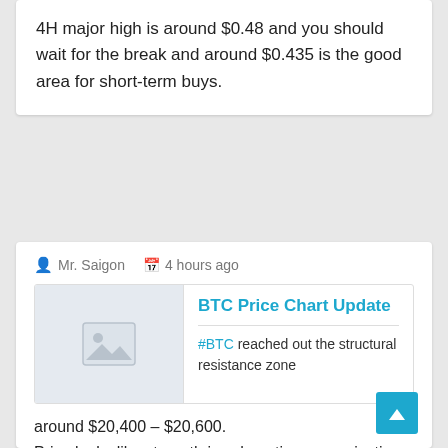4H major high is around $0.48 and you should wait for the break and around $0.435 is the good area for short-term buys.
Mr. Saigon   4 hours ago
BTC Price Chart Update
#BTC reached out the structural resistance zone around $20,400 – $20,600.
Price looks like strength is exhausting so a rejection js expected.
Alternatively, price breaking above the zone has a clean traffic $21,800.